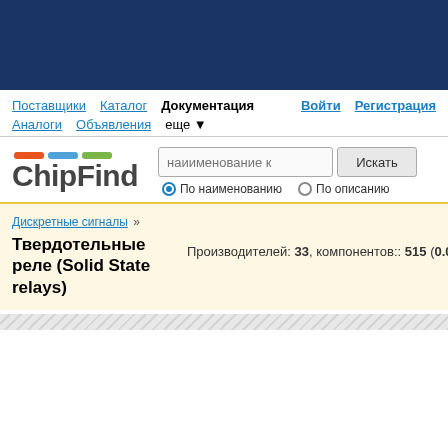[Figure (screenshot): Dark blue top banner of ChipFind website]
Поставщики  Каталог  Документация  Войти  Регистрация  Аналоги  Объявления  еще
[Figure (logo): ChipFind logo with colored bars (orange, blue, green) above the text]
наиименование к  Искать  По наименованию  По описанию
Дискретные сигналы »
Твердотельные реле (Solid State relays)
Производителей: 33, компонентов:: 515 (0.01 сек.